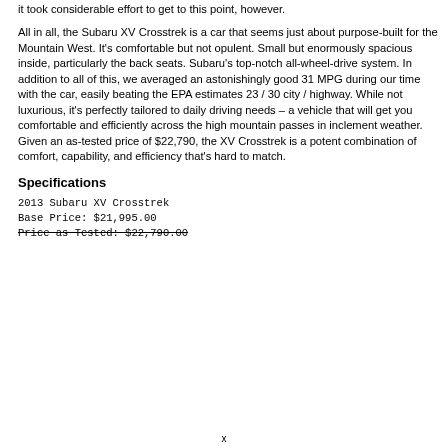it took considerable effort to get to this point, however.
All in all, the Subaru XV Crosstrek is a car that seems just about purpose-built for the Mountain West. It's comfortable but not opulent. Small but enormously spacious inside, particularly the back seats. Subaru's top-notch all-wheel-drive system. In addition to all of this, we averaged an astonishingly good 31 MPG during our time with the car, easily beating the EPA estimates 23 / 30 city / highway. While not luxurious, it's perfectly tailored to daily driving needs – a vehicle that will get you comfortable and efficiently across the high mountain passes in inclement weather. Given an as-tested price of $22,790, the XV Crosstrek is a potent combination of comfort, capability, and efficiency that's hard to match.
Specifications
2013 Subaru XV Crosstrek
Base Price: $21,995.00
Price as Tested: $22,790.00
x